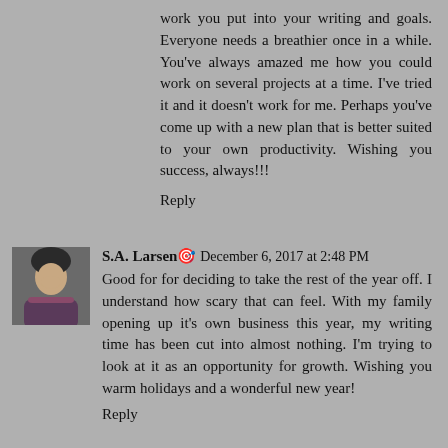work you put into your writing and goals. Everyone needs a breathier once in a while. You've always amazed me how you could work on several projects at a time. I've tried it and it doesn't work for me. Perhaps you've come up with a new plan that is better suited to your own productivity. Wishing you success, always!!!
Reply
S.A. Larsen🎯  December 6, 2017 at 2:48 PM
Good for for deciding to take the rest of the year off. I understand how scary that can feel. With my family opening up it's own business this year, my writing time has been cut into almost nothing. I'm trying to look at it as an opportunity for growth. Wishing you warm holidays and a wonderful new year!
Reply
Elizabeth Seckman  December 6, 2017 at 2:49 PM
I don't switch gears between projects very well myself. Even